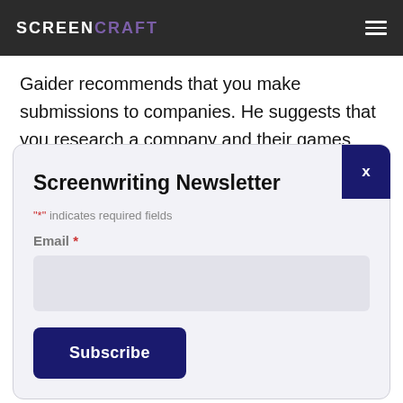SCREENCRAFT
Gaider recommends that you make submissions to companies. He suggests that you research a company and their games thoroughly — and make
Screenwriting Newsletter
"*" indicates required fields
Email *
Subscribe
writing several, make sure the first showcases your